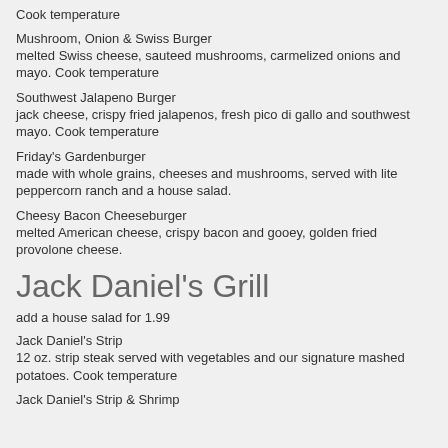Cook temperature
Mushroom, Onion & Swiss Burger
melted Swiss cheese, sauteed mushrooms, carmelized onions and mayo. Cook temperature
Southwest Jalapeno Burger
jack cheese, crispy fried jalapenos, fresh pico di gallo and southwest mayo. Cook temperature
Friday's Gardenburger
made with whole grains, cheeses and mushrooms, served with lite peppercorn ranch and a house salad.
Cheesy Bacon Cheeseburger
melted American cheese, crispy bacon and gooey, golden fried provolone cheese.
Jack Daniel's Grill
add a house salad for 1.99
Jack Daniel's Strip
12 oz. strip steak served with vegetables and our signature mashed potatoes. Cook temperature
Jack Daniel's Strip & Shrimp